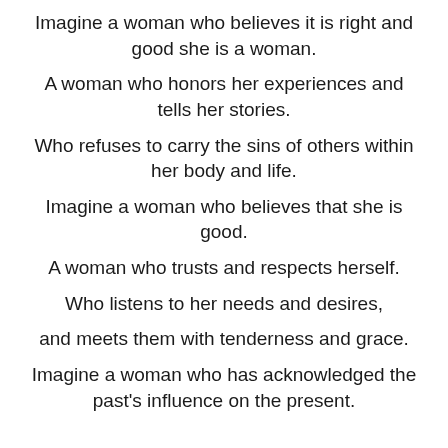Imagine a woman who believes it is right and good she is a woman.
A woman who honors her experiences and tells her stories.
Who refuses to carry the sins of others within her body and life.
Imagine a woman who believes that she is good.
A woman who trusts and respects herself.
Who listens to her needs and desires,
and meets them with tenderness and grace.
Imagine a woman who has acknowledged the past's influence on the present.